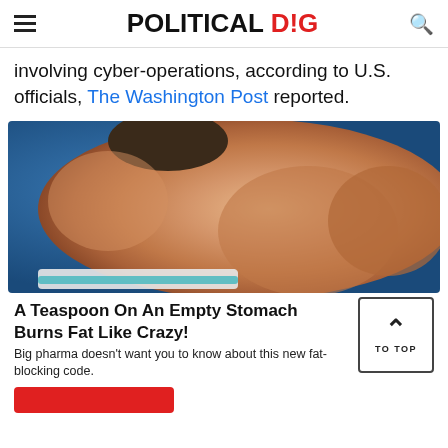POLITICAL DIG
involving cyber-operations, according to U.S. officials, The Washington Post reported.
[Figure (photo): Close-up photo of a person's midsection/torso showing abdominal fat, with a white and teal swimsuit bottom visible, against a blue background.]
A Teaspoon On An Empty Stomach Burns Fat Like Crazy!
Big pharma doesn't want you to know about this new fat-blocking code.